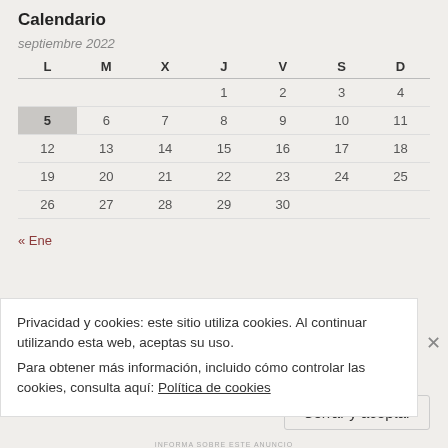Calendario
septiembre 2022
| L | M | X | J | V | S | D |
| --- | --- | --- | --- | --- | --- | --- |
|  |  |  | 1 | 2 | 3 | 4 |
| 5 | 6 | 7 | 8 | 9 | 10 | 11 |
| 12 | 13 | 14 | 15 | 16 | 17 | 18 |
| 19 | 20 | 21 | 22 | 23 | 24 | 25 |
| 26 | 27 | 28 | 29 | 30 |  |  |
« Ene
Privacidad y cookies: este sitio utiliza cookies. Al continuar utilizando esta web, aceptas su uso.
Para obtener más información, incluido cómo controlar las cookies, consulta aquí: Política de cookies
Cerrar y aceptar